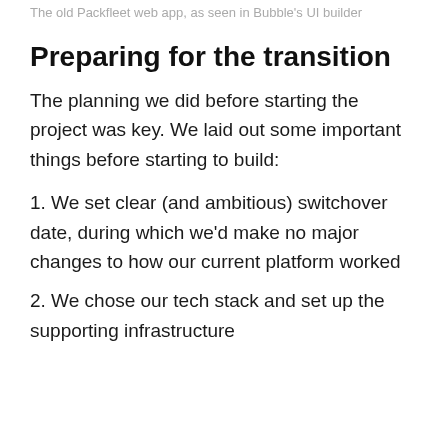The old Packfleet web app, as seen in Bubble's UI builder
Preparing for the transition
The planning we did before starting the project was key. We laid out some important things before starting to build:
1. We set clear (and ambitious) switchover date, during which we'd make no major changes to how our current platform worked
2. We chose our tech stack and set up the supporting infrastructure